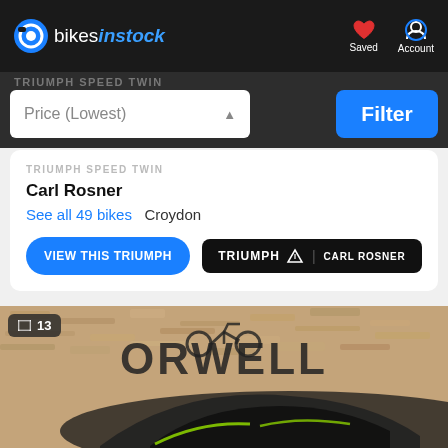bikesinstock — Saved — Account
TRIUMPH SPEED TWIN
Price (Lowest)
Filter
Carl Rosner
See all 49 bikes   Croydon
VIEW THIS TRIUMPH
[Figure (logo): Triumph | Carl Rosner dealer logo on black background]
[Figure (photo): Dark grey and green Kawasaki motorcycle parked in front of a wooden board wall with ORWELL branding, showing 13 photos]